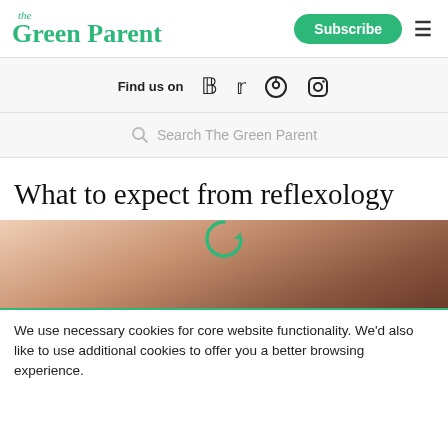the Green Parent — Subscribe — menu
Find us on [social icons: facebook, twitter, pinterest, instagram]
Search The Green Parent
What to expect from reflexology
[Figure (photo): Close-up photograph of hands performing reflexology massage]
We use necessary cookies for core website functionality. We'd also like to use additional cookies to offer you a better browsing experience.